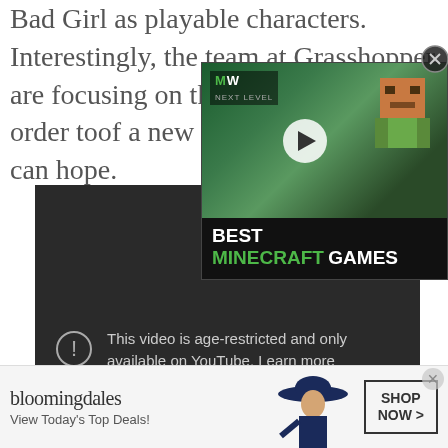Bad Girl as playable characters. Interestingly, the team at Grasshopper are focusing on their development in order to... of a new mainline No M... man can hope.
[Figure (screenshot): Embedded YouTube video player showing age-restricted content warning: 'This video is age-restricted and only available on YouTube. Learn more. Watch on YouTube']
[Figure (screenshot): Ad popup overlay with MW (Next Level) logo showing 'BEST MINECRAFT GAMES' with Minecraft character thumbnail and play button]
[Figure (screenshot): Bloomingdale's banner advertisement at bottom: 'View Today's Top Deals!' with SHOP NOW button]